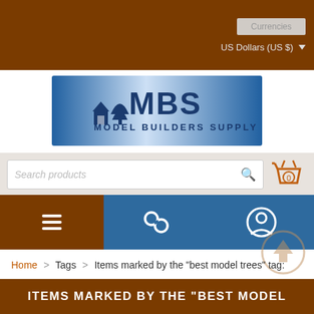Currencies | US Dollars (US $)
[Figure (logo): Model Builders Supply (MBS) logo with house and tree silhouette on blue gradient background]
Search products
[Figure (infographic): Navigation bar with hamburger menu icon (brown), chain-link icon (blue), and user/account icon (blue)]
Home > Tags > Items marked by the "best model trees" tag:
ITEMS MARKED BY THE "BEST MODEL